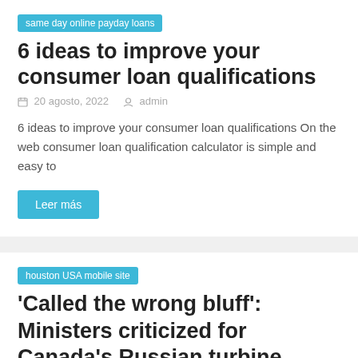same day online payday loans
6 ideas to improve your consumer loan qualifications
20 agosto, 2022   admin
6 ideas to improve your consumer loan qualifications On the web consumer loan qualification calculator is simple and easy to
Leer más
houston USA mobile site
‘Called the wrong bluff’: Ministers criticized for Canada’s Russian turbine return during tense hearing
20 agosto, 2022   admin